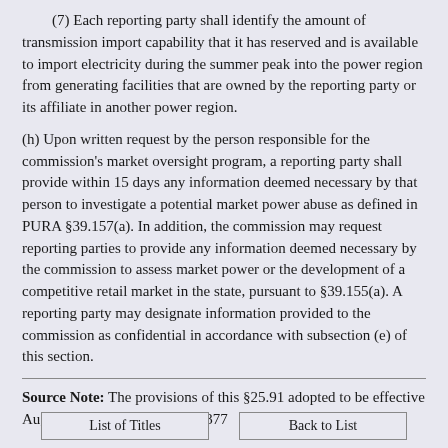(7) Each reporting party shall identify the amount of transmission import capability that it has reserved and is available to import electricity during the summer peak into the power region from generating facilities that are owned by the reporting party or its affiliate in another power region.
(h) Upon written request by the person responsible for the commission's market oversight program, a reporting party shall provide within 15 days any information deemed necessary by that person to investigate a potential market power abuse as defined in PURA §39.157(a). In addition, the commission may request reporting parties to provide any information deemed necessary by the commission to assess market power or the development of a competitive retail market in the state, pursuant to §39.155(a). A reporting party may designate information provided to the commission as confidential in accordance with subsection (e) of this section.
Source Note: The provisions of this §25.91 adopted to be effective August 31, 2000, 25 TexReg 8377
List of Titles
Back to List